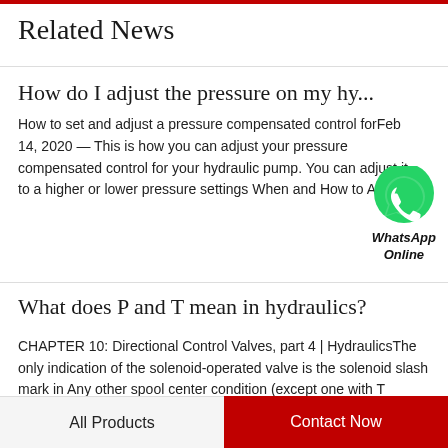Related News
How do I adjust the pressure on my hy...
How to set and adjust a pressure compensated control forFeb 14, 2020 — This is how you can adjust your pressure compensated control for your hydraulic pump. You can adjust it to a higher or lower pressure settings When and How to Adjust...
[Figure (logo): WhatsApp green circle icon with phone handset, labeled 'WhatsApp Online' in italic bold text]
What does P and T mean in hydraulics?
CHAPTER 10: Directional Control Valves, part 4 | HydraulicsThe only indication of the solenoid-operated valve is the solenoid slash mark in Any other spool center condition (except one with T blocked and A, B...
All Products    Contact Now